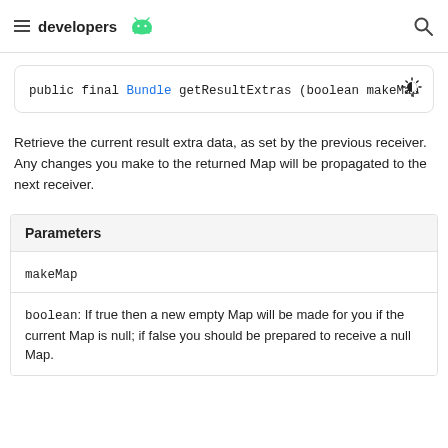developers
public final Bundle getResultExtras (boolean makeMap
Retrieve the current result extra data, as set by the previous receiver. Any changes you make to the returned Map will be propagated to the next receiver.
| Parameters |
| --- |
| makeMap |
| boolean: If true then a new empty Map will be made for you if the current Map is null; if false you should be prepared to receive a null Map. |